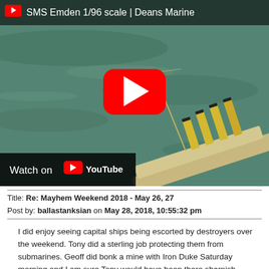[Figure (screenshot): YouTube video thumbnail showing a model ship (SMS Emden 1/96 scale by Deans Marine) floating on water, with a red YouTube play button in the center, a title bar at top reading 'SMS Emden 1/96 scale | Deans Marine', and a 'Watch on YouTube' bar at bottom left.]
Title: Re: Mayhem Weekend 2018 - May 26, 27
Post by: ballastanksian on May 28, 2018, 10:55:32 pm
I did enjoy seeing capital ships being escorted by destroyers over the weekend. Tony did a sterling job protecting them from submarines. Geoff did bonk a mine with Iron Duke Saturday morning and I am sure Tony would have been there sharpish